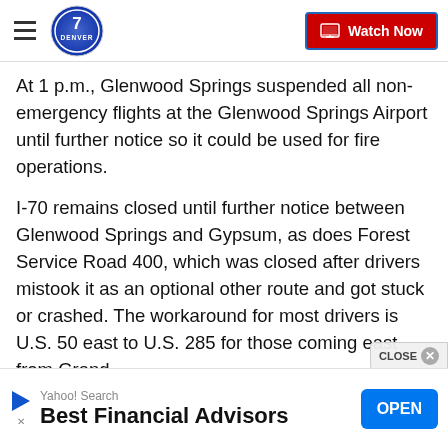Denver7 — Watch Now
At 1 p.m., Glenwood Springs suspended all non-emergency flights at the Glenwood Springs Airport until further notice so it could be used for fire operations.
I-70 remains closed until further notice between Glenwood Springs and Gypsum, as does Forest Service Road 400, which was closed after drivers mistook it as an optional other route and got stuck or crashed. The workaround for most drivers is U.S. 50 east to U.S. 285 for those coming east from Grand
[Figure (screenshot): Yahoo Search advertisement banner reading 'Best Financial Advisors' with an OPEN button]
Yahoo! Search
Best Financial Advisors — OPEN